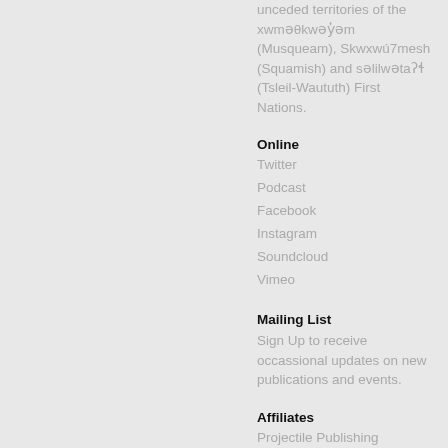unceded territories of the xwməθkwəy̓əm (Musqueam), Skwxwú7mesh (Squamish) and səlilwətaʔɬ (Tsleil-Waututh) First Nations.
Online
Twitter
Podcast
Facebook
Instagram
Soundcloud
Vimeo
Mailing List
Sign Up to receive occassional updates on new publications and events.
Affiliates
Projectile Publishing
New Documents